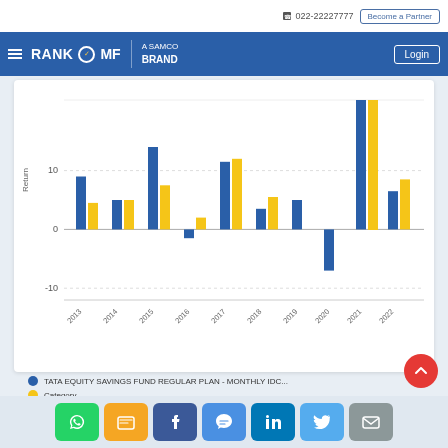022-22227777 | Become a Partner
[Figure (logo): RankMF - A Samco Brand logo with Login button on blue navigation bar]
[Figure (grouped-bar-chart): Returns by Year]
TATA EQUITY SAVINGS FUND REGULAR PLAN - MONTHLY IDC... | Category
Social share buttons: WhatsApp, SMS, Facebook, Messenger, LinkedIn, Twitter, Email